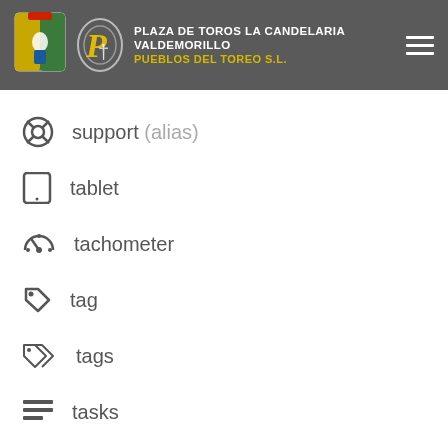[Figure (logo): Plaza de Toros La Candelaria Valdemorillo header with logo, text and hamburger menu icon]
support (alias)
tablet
tachometer
tag
tags
tasks
taxi